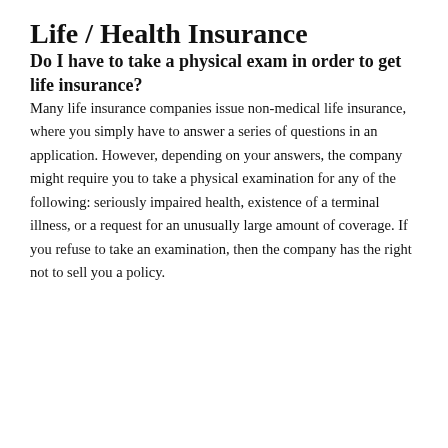Life / Health Insurance
Do I have to take a physical exam in order to get life insurance?
Many life insurance companies issue non-medical life insurance, where you simply have to answer a series of questions in an application. However, depending on your answers, the company might require you to take a physical examination for any of the following: seriously impaired health, existence of a terminal illness, or a request for an unusually large amount of coverage. If you refuse to take an examination, then the company has the right not to sell you a policy.